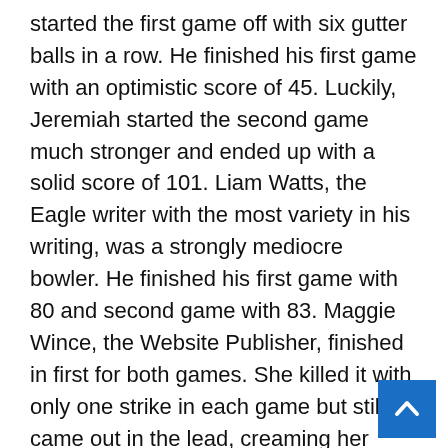started the first game off with six gutter balls in a row. He finished his first game with an optimistic score of 45. Luckily, Jeremiah started the second game much stronger and ended up with a solid score of 101. Liam Watts, the Eagle writer with the most variety in his writing, was a strongly mediocre bowler. He finished his first game with 80 and second game with 83. Maggie Wince, the Website Publisher, finished in first for both games. She killed it with only one strike in each game but still came out in the lead, creaming her opponents, Jeremiah and Liam.
Bowling was a fantastic chance for our staff to enjoy each other's fellowship. Part of the joy of being newspaper staff is the ability to make friends with kids of all different majors, different ages, different